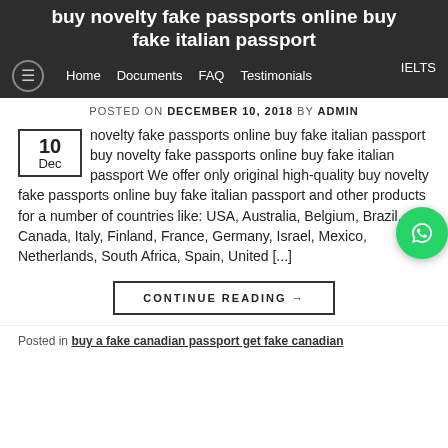buy novelty fake passports online buy fake italian passport
Home  Documents  FAQ  Testimonials  IELTS
POSTED ON DECEMBER 10, 2018 BY ADMIN
novelty fake passports online buy fake italian passport buy novelty fake passports online buy fake italian passport We offer only original high-quality buy novelty fake passports online buy fake italian passport and other products for a number of countries like: USA, Australia, Belgium, Brazil, Canada, Italy, Finland, France, Germany, Israel, Mexico, Netherlands, South Africa, Spain, United [...]
CONTINUE READING →
Posted in buy a fake canadian passport get fake canadian